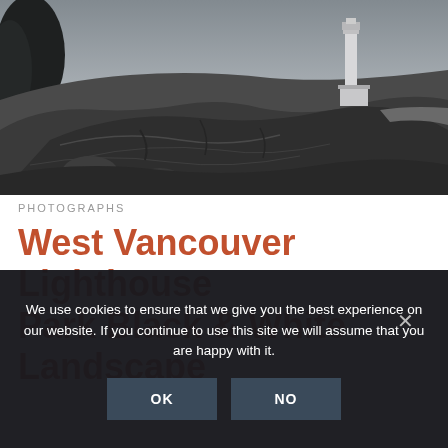[Figure (photo): Black and white landscape photograph of West Vancouver Lighthouse Park showing rocky foreground, dark craggy rocks, trees on left, and a lighthouse in the background against a grey sky.]
PHOTOGRAPHS
West Vancouver Lighthouse Park Black & White Landscape
We use cookies to ensure that we give you the best experience on our website. If you continue to use this site we will assume that you are happy with it.